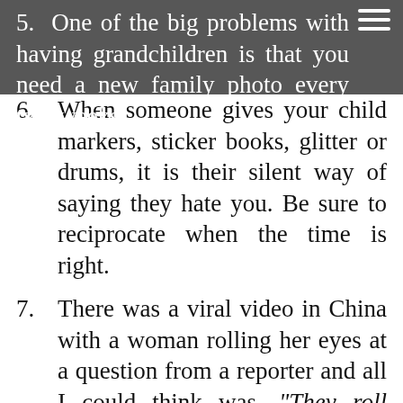5. One of the big problems with having grandchildren is that you need a new family photo every two weeks.
6. When someone gives your child markers, sticker books, glitter or drums, it is their silent way of saying they hate you. Be sure to reciprocate when the time is right.
7. There was a viral video in China with a woman rolling her eyes at a question from a reporter and all I could think was, “They roll their eyes in China?” I had assumed this was a cultural thing in the United States, but apparently it’s done all over the world. Now, I can ascribe my eye-rolling habit to my humanity, rather than my snark.